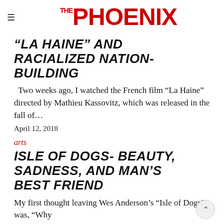THE PHOENIX
“LA HAINE” AND RACIALIZED NATION-BUILDING
Two weeks ago, I watched the French film “La Haine” directed by Mathieu Kassovitz, which was released in the fall of…
April 12, 2018
arts
ISLE OF DOGS- BEAUTY, SADNESS, AND MAN’S BEST FRIEND
My first thought leaving Wes Anderson’s “Isle of Dogs” was, “Why